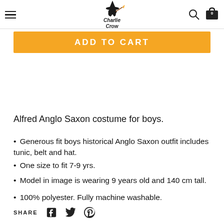Charlie Crow — navigation header with menu, logo, search, and cart
ADD TO CART
Alfred Anglo Saxon costume for boys.
Generous fit boys historical Anglo Saxon outfit includes tunic, belt and hat.
One size to fit 7-9 yrs.
Model in image is wearing 9 years old and 140 cm tall.
100% polyester. Fully machine washable.
SHARE